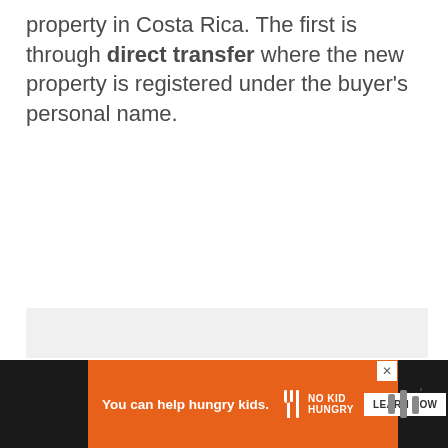property in Costa Rica. The first is through direct transfer where the new property is registered under the buyer's personal name.
[Figure (other): Gray placeholder box representing an image or advertisement area]
[Figure (other): Advertisement banner: 'You can help hungry kids.' with No Kid Hungry logo and LEARN HOW button, on orange background with dark side bars]